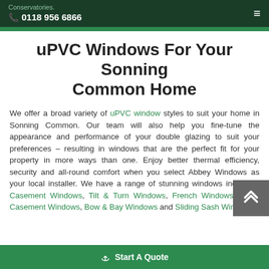Conservatories. 0118 956 6866
uPVC Windows For Your Sonning Common Home
We offer a broad variety of uPVC window styles to suit your home in Sonning Common. Our team will also help you fine-tune the appearance and performance of your double glazing to suit your preferences – resulting in windows that are the perfect fit for your property in more ways than one. Enjoy better thermal efficiency, security and all-round comfort when you select Abbey Windows as your local installer. We have a range of stunning windows including: Casement Windows, Tilt & Turn Windows, French Windows, Flush Casement Windows, Bow & Bay Windows and Sliding Sash Windows.
Start A Quote